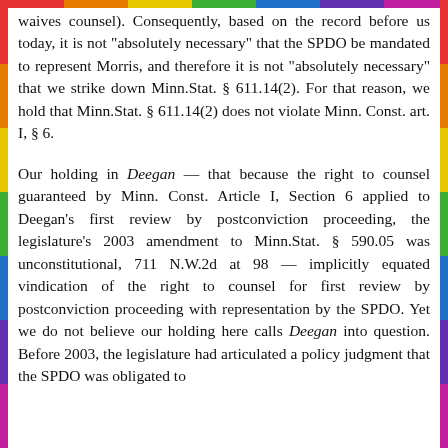waives counsel). Consequently, based on the record before us today, it is not "absolutely necessary" that the SPDO be mandated to represent Morris, and therefore it is not "absolutely necessary" that we strike down Minn.Stat. § 611.14(2). For that reason, we hold that Minn.Stat. § 611.14(2) does not violate Minn. Const. art. I, § 6.
Our holding in Deegan — that because the right to counsel guaranteed by Minn. Const. Article I, Section 6 applied to Deegan's first review by postconviction proceeding, the legislature's 2003 amendment to Minn.Stat. § 590.05 was unconstitutional, 711 N.W.2d at 98 — implicitly equated vindication of the right to counsel for first review by postconviction proceeding with representation by the SPDO. Yet we do not believe our holding here calls Deegan into question. Before 2003, the legislature had articulated a policy judgment that the SPDO was obligated to